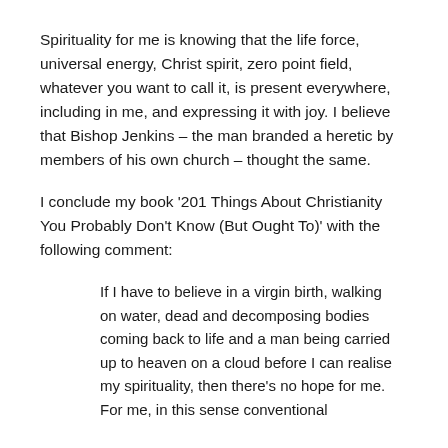Spirituality for me is knowing that the life force, universal energy, Christ spirit, zero point field, whatever you want to call it, is present everywhere, including in me, and expressing it with joy. I believe that Bishop Jenkins – the man branded a heretic by members of his own church – thought the same.
I conclude my book '201 Things About Christianity You Probably Don't Know (But Ought To)' with the following comment:
If I have to believe in a virgin birth, walking on water, dead and decomposing bodies coming back to life and a man being carried up to heaven on a cloud before I can realise my spirituality, then there's no hope for me. For me, in this sense conventional